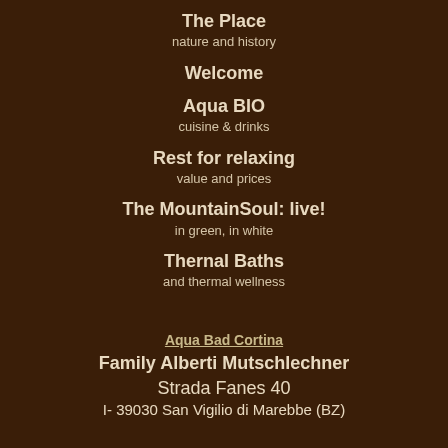The Place
nature and history
Welcome
Aqua BIO
cuisine & drinks
Rest for relaxing
value and prices
The MountainSoul: live!
in green, in white
Thernal Baths
and thermal wellness
[Figure (logo): Aqua Bad Cortina logo/link]
Family Alberti Mutschlechner
Strada Fanes 40
I- 39030 San Vigilio di Marebbe (BZ)